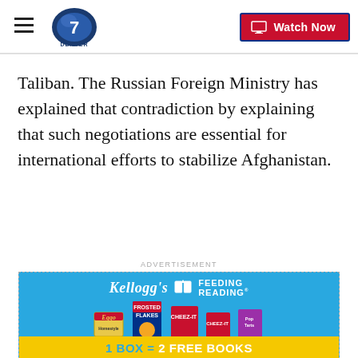Denver 7 | Watch Now
Taliban. The Russian Foreign Ministry has explained that contradiction by explaining that such negotiations are essential for international efforts to stabilize Afghanistan.
ADVERTISEMENT
[Figure (photo): Kellogg's Feeding Reading advertisement showing Frosted Flakes, Cheez-It, Eggo, and Pop-Tarts products with text '1 BOX = 2 FREE BOOKS']